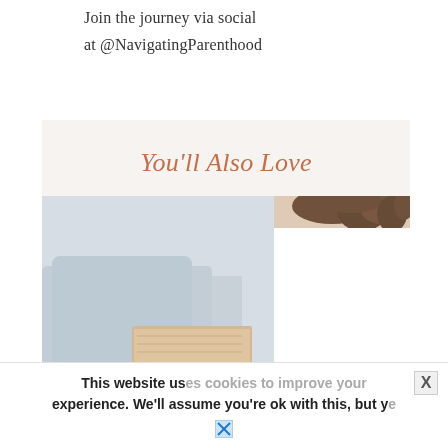Join the journey via social
at @NavigatingParenthood
You'll Also Love
[Figure (photo): Photo of a person holding a book/card, with curly-haired person in background]
This website uses cookies to improve your experience. We'll assume you're ok with this, but ye